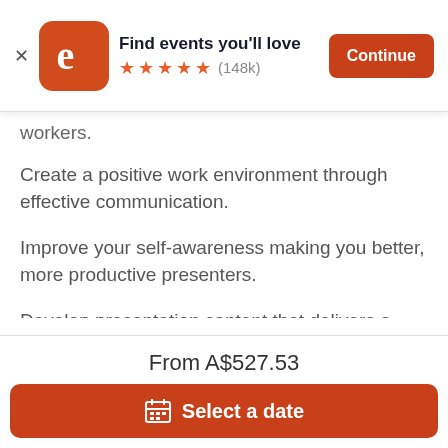[Figure (screenshot): Eventbrite app banner with logo, 'Find events you'll love', 5 stars, (148k) reviews, and Continue button]
workers.
Create a positive work environment through effective communication.
Improve your self-awareness making you better, more productive presenters.
Develop presentation content that delivers a winning message.
Ultimately these training allow you to develop presenters that are able to engage audiences and use persuasive techniques to get results. You need
From A$527.53
Select a date